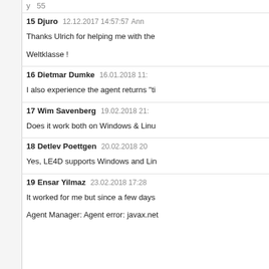y  55
15  Djuro  12.12.2017 14:57:57  Ann
Thanks Ulrich for helping me with the
Weltklasse !
16  Dietmar Dumke  16.01.2018 11:
I also experience the agent returns "ti
17  Wim Savenberg  19.02.2018 21:
Does it work both on Windows & Linu
18  Detlev Poettgen  20.02.2018 20
Yes, LE4D supports Windows and Lin
19  Ensar Yilmaz  23.02.2018 17:28
It worked for me but since a few days
Agent Manager: Agent error: javax.net